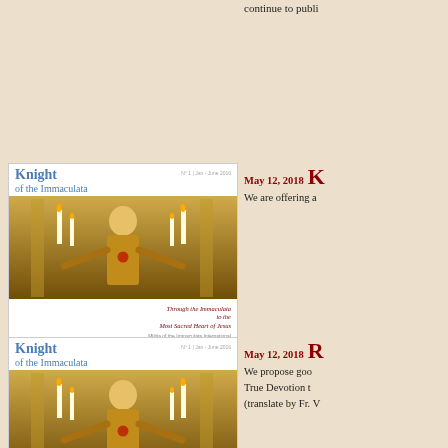continue to publ
[Figure (photo): Cover of 'Knight of the Immaculata' magazine featuring a statue of Jesus, with subtitle 'Through the Immaculata to the Most Sacred Heart of Jesus']
May 12, 2018    K
We are offering a
[Figure (photo): Second cover of 'Knight of the Immaculata' magazine featuring a statue of Jesus, with subtitle 'Through the Immaculata to the Most Sacred Heart of Jesus']
May 12, 2018    R
We propose goo True Devotion t (translate by Fr. V
[Figure (photo): Blue-bordered flyer showing Virgin Mary and text 'Hãy lần Hạt Mân Côi hằng ngày']
May 11, 2018    T
We are offering Flyer about the R